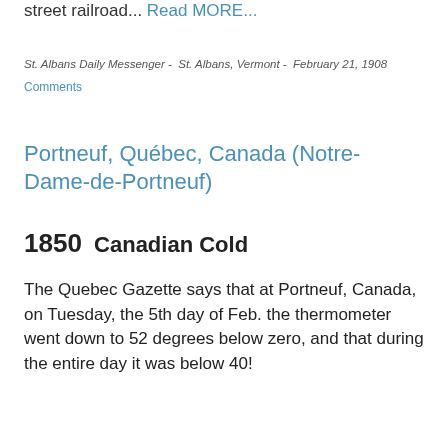street railroad... Read MORE...
St. Albans Daily Messenger -  St. Albans, Vermont -  February 21, 1908
Comments
Portneuf, Québec, Canada (Notre-Dame-de-Portneuf)
1850  Canadian Cold
The Quebec Gazette says that at Portneuf, Canada, on Tuesday, the 5th day of Feb. the thermometer went down to 52 degrees below zero, and that during the entire day it was below 40!